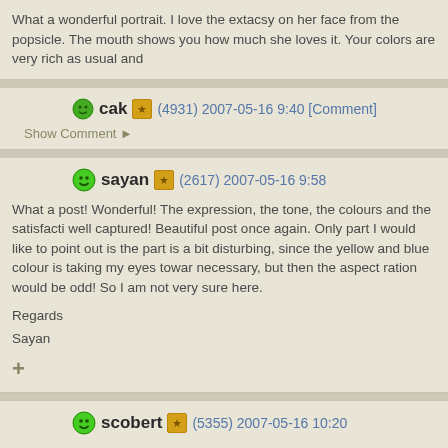What a wonderful portrait. I love the extacsy on her face from the popsicle. The mouth shows you how much she loves it. Your colors are very rich as usual and
cak (4931) 2007-05-16 9:40 [Comment]
Show Comment ▶
sayan (2617) 2007-05-16 9:58

What a post! Wonderful! The expression, the tone, the colours and the satisfacti well captured! Beautiful post once again. Only part I would like to point out is the part is a bit disturbing, since the yellow and blue colour is taking my eyes towar necessary, but then the aspect ration would be odd! So I am not very sure here.

Regards

Sayan

+
scobert (5355) 2007-05-16 10:20

Hello Sabyasachi,
A marvelous portrait of this elderly lady enjoying her treat. In spite of her advanc girl's sparkle in her eyes just like the first time she enjoyed her first icecream sti